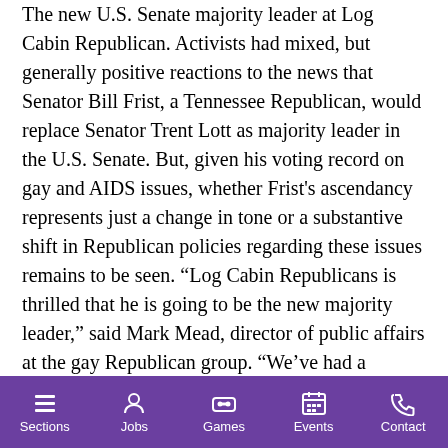The new U.S. Senate majority leader at Log Cabin Republican. Activists had mixed, but generally positive reactions to the news that Senator Bill Frist, a Tennessee Republican, would replace Senator Trent Lott as majority leader in the U.S. Senate. But, given his voting record on gay and AIDS issues, whether Frist's ascendancy represents just a change in tone or a substantive shift in Republican policies regarding these issues remains to be seen. “Log Cabin Republicans is thrilled that he is going to be the new majority leader,” said Mark Mead, director of public affairs at the gay Republican group. “We’ve had a working relationship with him for a while, particularly on AIDS issues.” Frist was a featured speaker at a Log Cabin event earlier this year and he recently approached Rich Tafel, the outgoing LCR executive director, and indicated his
Sections | Jobs | Games | Events | Contact